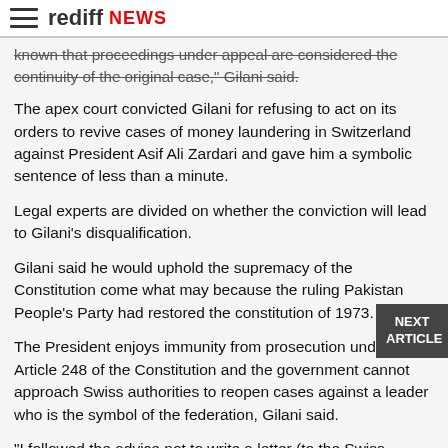rediff NEWS
known that proceedings under appeal are considered the continuity of the original case," Gilani said.
The apex court convicted Gilani for refusing to act on its orders to revive cases of money laundering in Switzerland against President Asif Ali Zardari and gave him a symbolic sentence of less than a minute.
Legal experts are divided on whether the conviction will lead to Gilani's disqualification.
Gilani said he would uphold the supremacy of the Constitution come what may because the ruling Pakistan People's Party had restored the constitution of 1973.
The President enjoys immunity from prosecution under Article 248 of the Constitution and the government cannot approach Swiss authorities to reopen cases against a leader who is the symbol of the federation, Gilani said.
"I followed the advice not to write a letter (to the Swiss authorities) as the Constitution provides immunity to the President," he said.